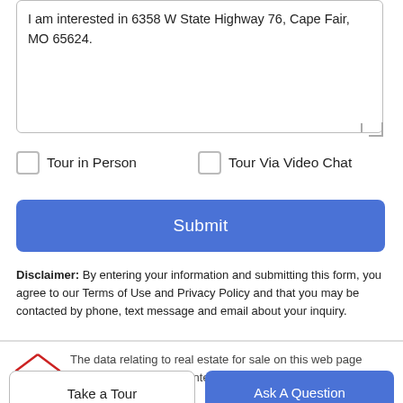I am interested in 6358 W State Highway 76, Cape Fair, MO 65624.
Tour in Person
Tour Via Video Chat
Submit
Disclaimer: By entering your information and submitting this form, you agree to our Terms of Use and Privacy Policy and that you may be contacted by phone, text message and email about your inquiry.
The data relating to real estate for sale on this web page comes in part from the Internet Data Exchange (IDX) of the
Take a Tour
Ask A Question